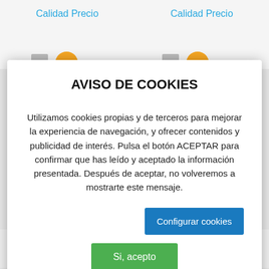Calidad Precio   Calidad Precio
AVISO DE COOKIES
Utilizamos cookies propias y de terceros para mejorar la experiencia de navegación, y ofrecer contenidos y publicidad de interés. Pulsa el botón ACEPTAR para confirmar que has leído y aceptado la información presentada. Después de aceptar, no volveremos a mostrarte este mensaje.
Configurar cookies
Si, acepto
Lo siento, debes estar conectado para publicar un comentario